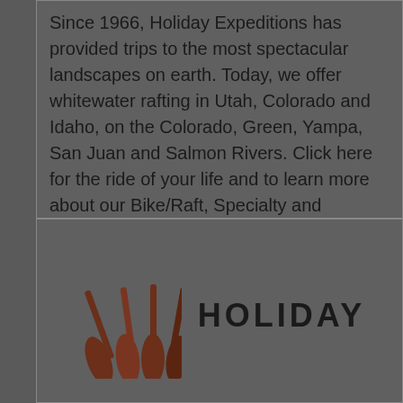Since 1966, Holiday Expeditions has provided trips to the most spectacular landscapes on earth. Today, we offer whitewater rafting in Utah, Colorado and Idaho, on the Colorado, Green, Yampa, San Juan and Salmon Rivers. Click here for the ride of your life and to learn more about our Bike/Raft, Specialty and Kayaking Trips.
Hot Deals
Book Online
Request Info
Official Website
[Figure (logo): Holiday Expeditions logo with stylized red/brown paddle or oar icons and the word HOLIDAY in bold capital letters]